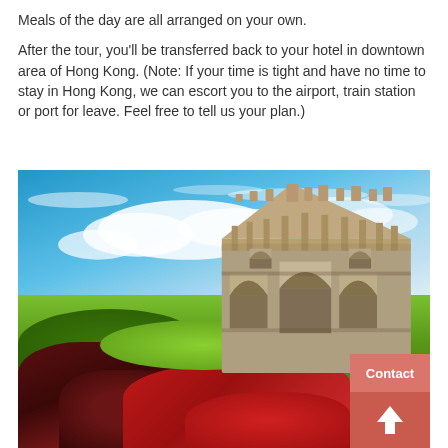Meals of the day are all arranged on your own.
After the tour, you'll be transferred back to your hotel in downtown area of Hong Kong. (Note: If your time is tight and have no time to stay in Hong Kong, we can escort you to the airport, train station or port for leave. Feel free to tell us your plan.)
[Figure (photo): Photo of the Ruins of St. Paul's in Macau, showing the ornate stone facade of the historic church ruins on a grassy hillside with colorful flowering shrubs (red and deep maroon), under a bright blue sky with white clouds. A 'Contact' button and an upward arrow navigation button are overlaid in the bottom-right corner.]